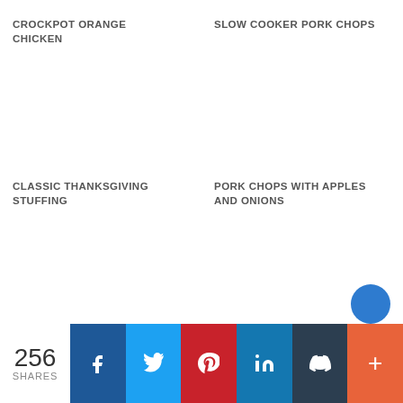CROCKPOT ORANGE CHICKEN
SLOW COOKER PORK CHOPS
CLASSIC THANKSGIVING STUFFING
PORK CHOPS WITH APPLES AND ONIONS
256 SHARES